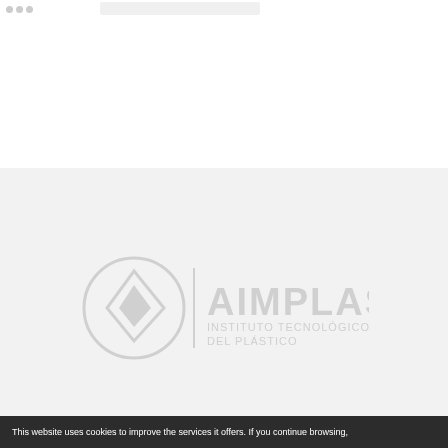[Figure (logo): AIMPLAS Instituto Tecnológico del Plástico logo — white circular emblem with diamond/leaf shape on left, text 'AIMPLAS' large on right, 'INSTITUTO TECNOLÓGICO DEL PLÁSTICO' smaller below, all on light grey background]
This website uses cookies to improve the services it offers. If you continue browsing,